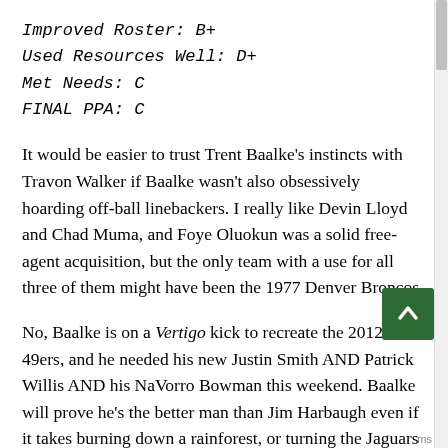Improved Roster: B+
Used Resources Well: D+
Met Needs: C
FINAL PPA: C
It would be easier to trust Trent Baalke's instincts with Travon Walker if Baalke wasn't also obsessively hoarding off-ball linebackers. I really like Devin Lloyd and Chad Muma, and Foye Oluokun was a solid free-agent acquisition, but the only team with a use for all three of them might have been the 1977 Denver Broncos.
No, Baalke is on a Vertigo kick to recreate the 2012 49ers, and he needed his new Justin Smith AND Patrick Willis AND his NaVorro Bowman this weekend. Baalke will prove he's the better man than Jim Harbaugh even if it takes burning down a rainforest, or turning the Jaguars into the second-